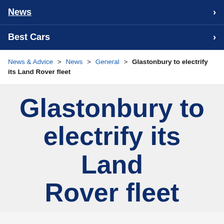News
Best Cars
News & Advice > News > General > Glastonbury to electrify its Land Rover fleet
Glastonbury to electrify its Land Rover fleet